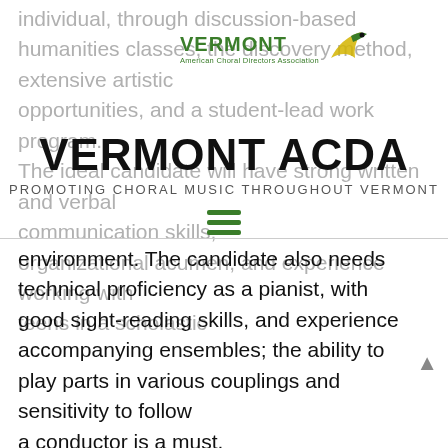individual, through discussion-based humanities classes, the discovery method, extensive artistic opportunities, and a student-lead work program. The ideal candidate will have strong written and verbal communication skills, organizational acumen, and experience working with teens in a scholastic
[Figure (logo): Vermont ACDA logo with green VERMONT text and bird graphic]
VERMONT ACDA
PROMOTING CHORAL MUSIC THROUGHOUT VERMONT
environment. The candidate also needs technical proficiency as a pianist, with good sight-reading skills, and experience accompanying ensembles; the ability to play parts in various couplings and sensitivity to follow a conductor is a must.
The duties of the position are listed below. As many of these systems are already in place, we do expect to train the incoming candidate.